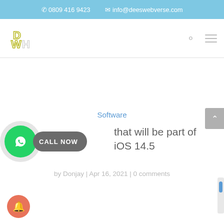0809 416 9423   info@deeswebverse.com
[Figure (logo): Deeswebverse logo - stylized DW letters in olive/yellow with D W H letters]
Software
CALL NOW
that will be part of iOS 14.5
by Donjay | Apr 16, 2021 | 0 comments